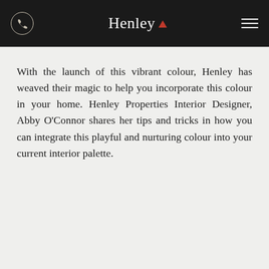Henley
With the launch of this vibrant colour, Henley has weaved their magic to help you incorporate this colour in your home. Henley Properties Interior Designer, Abby O’Connor shares her tips and tricks in how you can integrate this playful and nurturing colour into your current interior palette.